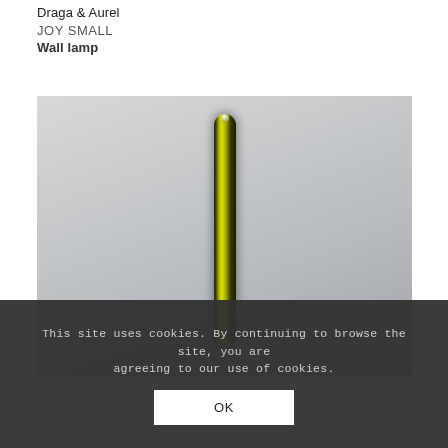Draga & Aurel
JOY SMALL
Wall lamp
[Figure (photo): Product photo of a slim vertical wall lamp with a yellow-green cylindrical glass tube on a light grey background, viewed straight-on.]
This site uses cookies. By continuing to browse the site, you are agreeing to our use of cookies.
OK